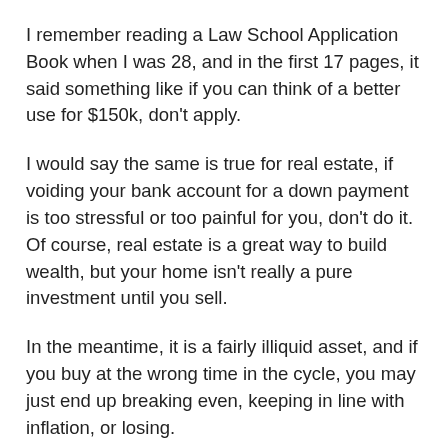I remember reading a Law School Application Book when I was 28, and in the first 17 pages, it said something like if you can think of a better use for $150k, don't apply.
I would say the same is true for real estate, if voiding your bank account for a down payment is too stressful or too painful for you, don't do it. Of course, real estate is a great way to build wealth, but your home isn't really a pure investment until you sell.
In the meantime, it is a fairly illiquid asset, and if you buy at the wrong time in the cycle, you may just end up breaking even, keeping in line with inflation, or losing.
House Flips, legal AirBNB's, and Rental Properties are true investments, and can be lucrative but also